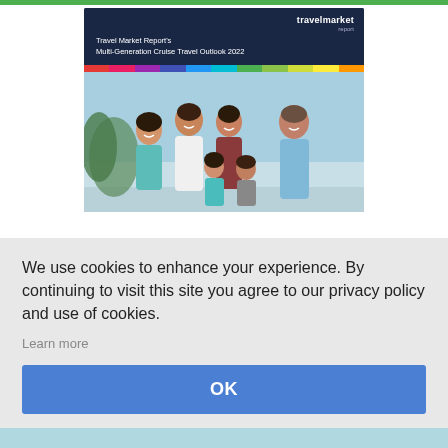[Figure (screenshot): Travel Market Report website showing a report cover titled 'Travel Market Report's Multi-Generation Cruise Travel Outlook 2022' with a family photo below, partially obscured by a cookie consent banner.]
We use cookies to enhance your experience. By continuing to visit this site you agree to our privacy policy and use of cookies.
Learn more
OK